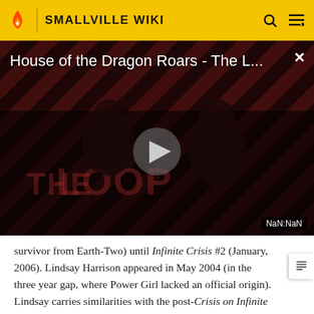SMALLVILLE WIKI
[Figure (screenshot): Video thumbnail for 'House of the Dragon Roars - The L...' with a play button in the center, dark red diagonal stripe background, two figures visible, THE LOOP watermark, and NaN:NaN time display.]
survivor from Earth-Two) until Infinite Crisis #2 (January, 2006). Lindsay Harrison appeared in May 2004 (in the three year gap, where Power Girl lacked an official origin). Lindsay carries similarities with the post-Crisis on Infinite Earths Power Girl, in that she is